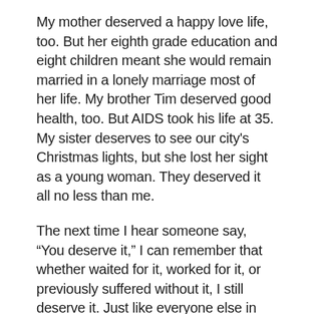My mother deserved a happy love life, too. But her eighth grade education and eight children meant she would remain married in a lonely marriage most of her life. My brother Tim deserved good health, too. But AIDS took his life at 35.  My sister deserves to see our city's Christmas lights, but she lost her sight as a young woman. They deserved it all no less than me.
The next time I hear someone say, “You deserve it,” I can remember that whether waited for it, worked for it, or previously suffered without it, I still deserve it. Just like everyone else in the world. If it’s good for me, I’ll receive it. A “yes” to the love. A “maybe” to the new purchase. And when it comes to the tiramisu, perhaps I choose a decaf coffee with half and half. Unless it’s